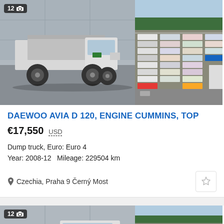[Figure (photo): White Daewoo Avia dump truck parked, left side view, with tipper body]
[Figure (photo): Aerial view of a large truck dealer lot with many trucks parked in rows]
DAEWOO AVIA D 120, ENGINE CUMMINS, TOP
€17,550  USD
Dump truck, Euro: Euro 4
Year: 2008-12  Mileage: 229504 km
Czechia, Praha 9 Černý Most
[Figure (photo): White Daewoo Avia dump truck cab, partial front view]
[Figure (photo): Aerial view of truck dealer lot, rows of trucks]